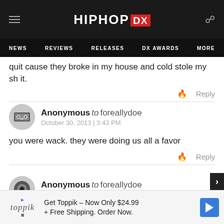HipHopDX — NEWS | REVIEWS | RELEASES | DX AWARDS | MORE
quit cause they broke in my house and cold stole my sh it.
Anonymous to foreallydoe
October 30, 2013 | 3:43 PM
you were wack. they were doing us all a favor
Anonymous to foreallydoe
October 29, 2013 | 10:59 PM
damn
Get Toppik – Now Only $24.99 + Free Shipping. Order Now.